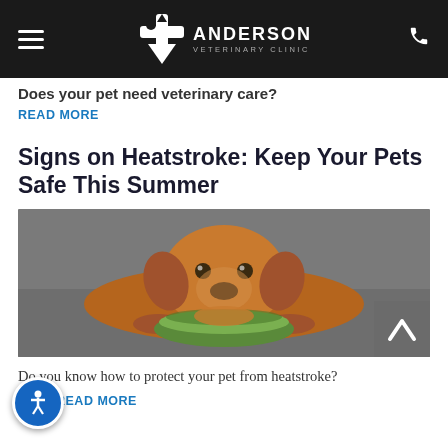Anderson Veterinary Clinic
Does your pet need veterinary care?
READ MORE
Signs on Heatstroke: Keep Your Pets Safe This Summer
[Figure (photo): A brown dog lying down with its chin resting on a green bowl, on a grey pavement surface.]
Do you know how to protect your pet from heatstroke?
READ MORE